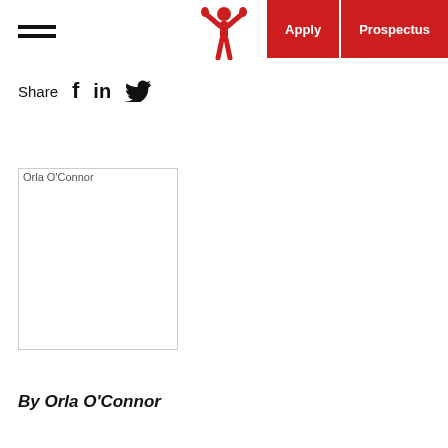Apply | Prospectus
Share
[Figure (photo): Broken/missing image placeholder for Orla O'Connor]
By Orla O'Connor